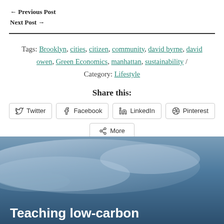← Previous Post
Next Post →
Tags: Brooklyn, cities, citizen, community, david byrne, david owen, Green Economics, manhattan, sustainability / Category: Lifestyle
Share this:
Twitter  Facebook  LinkedIn  Pinterest  More
[Figure (photo): Blue gradient background image with dark blue and light grey tones, partially visible, used as background for next article preview]
Teaching low-carbon